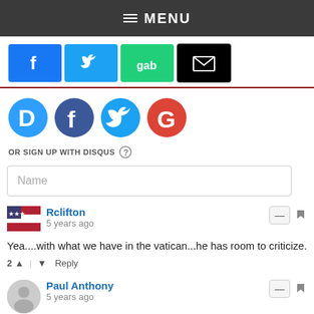≡ MENU
[Figure (infographic): Social share buttons: Facebook (blue), Twitter (blue bird), Gab (green), Email (black envelope)]
[Figure (infographic): Login/comment social icons: Disqus (cyan D), Facebook (dark blue f), Twitter (cyan bird), Google (red G)]
OR SIGN UP WITH DISQUS ?
Name
Rclifton
5 years ago
Yea....with what we have in the vatican...he has room to criticize.
2 ▲ | ▼ Reply
Paul Anthony
5 years ago
A common and mistaken excuse (and [t... an excuse for using Protestant Alpha) clai...
[Figure (other): Donate button overlay (teal/blue background)]